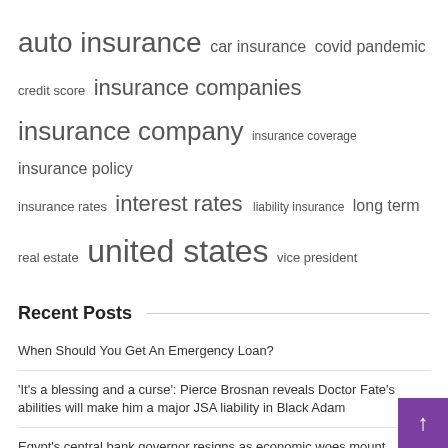[Figure (infographic): Tag cloud with insurance-related terms in varying font sizes: auto insurance (largest), car insurance, covid pandemic, credit score, insurance companies (large), insurance company (large), insurance coverage, insurance policy, insurance rates, interest rates (large), liability insurance, long term, real estate, united states (largest), vice president]
Recent Posts
When Should You Get An Emergency Loan?
'It's a blessing and a curse': Pierce Brosnan reveals Doctor Fate's abilities will make him a major JSA liability in Black Adam
Egypt's central bank governor resigns as economic woes mount